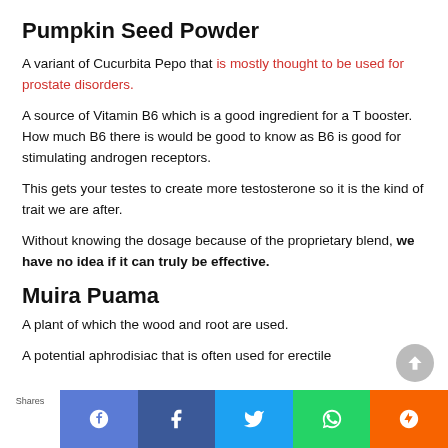Pumpkin Seed Powder
A variant of Cucurbita Pepo that is mostly thought to be used for prostate disorders.
A source of Vitamin B6 which is a good ingredient for a T booster. How much B6 there is would be good to know as B6 is good for stimulating androgen receptors.
This gets your testes to create more testosterone so it is the kind of trait we are after.
Without knowing the dosage because of the proprietary blend, we have no idea if it can truly be effective.
Muira Puama
A plant of which the wood and root are used.
A potential aphrodisiac that is often used for erectile
Shares